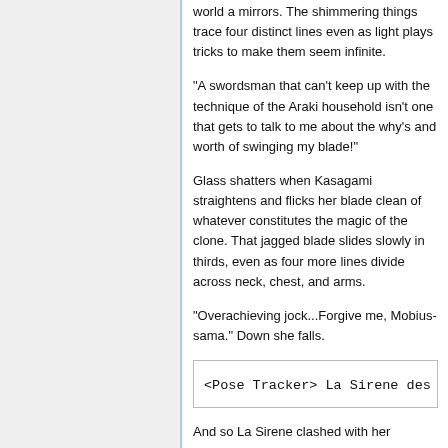world a mirrors. The shimmering things trace four distinct lines even as light plays tricks to make them seem infinite.
"A swordsman that can't keep up with the technique of the Araki household isn't one that gets to talk to me about the why's and worth of swinging my blade!"
Glass shatters when Kasagami straightens and flicks her blade clean of whatever constitutes the magic of the clone. That jagged blade slides slowly in thirds, even as four more lines divide across neck, chest, and arms.
"Overachieving jock...Forgive me, Mobius-sama." Down she falls.
<Pose Tracker> La Sirene des Op
And so La Sirene clashed with her